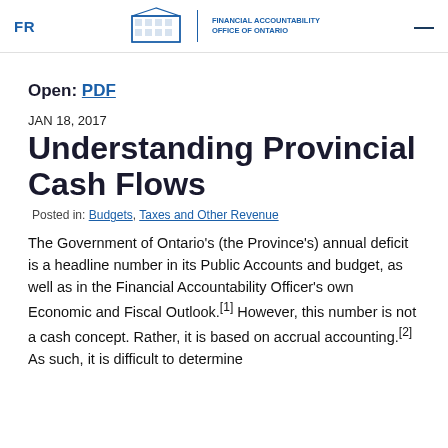FR | Financial Accountability Office of Ontario
Open: PDF
JAN 18, 2017
Understanding Provincial Cash Flows
Posted in: Budgets, Taxes and Other Revenue
The Government of Ontario's (the Province's) annual deficit is a headline number in its Public Accounts and budget, as well as in the Financial Accountability Officer's own Economic and Fiscal Outlook.[1] However, this number is not a cash concept. Rather, it is based on accrual accounting.[2] As such, it is difficult to determine